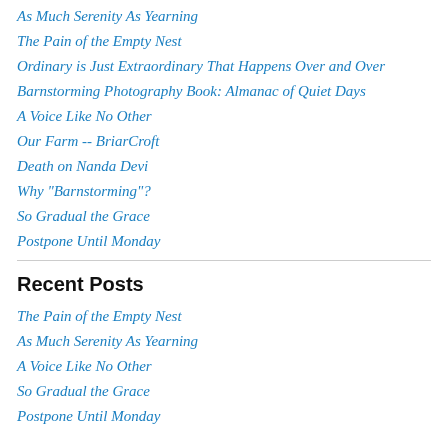As Much Serenity As Yearning
The Pain of the Empty Nest
Ordinary is Just Extraordinary That Happens Over and Over
Barnstorming Photography Book: Almanac of Quiet Days
A Voice Like No Other
Our Farm -- BriarCroft
Death on Nanda Devi
Why "Barnstorming"?
So Gradual the Grace
Postpone Until Monday
Recent Posts
The Pain of the Empty Nest
As Much Serenity As Yearning
A Voice Like No Other
So Gradual the Grace
Postpone Until Monday